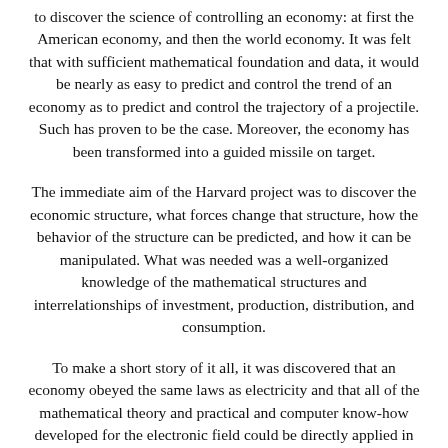to discover the science of controlling an economy: at first the American economy, and then the world economy. It was felt that with sufficient mathematical foundation and data, it would be nearly as easy to predict and control the trend of an economy as to predict and control the trajectory of a projectile. Such has proven to be the case. Moreover, the economy has been transformed into a guided missile on target.

The immediate aim of the Harvard project was to discover the economic structure, what forces change that structure, how the behavior of the structure can be predicted, and how it can be manipulated. What was needed was a well-organized knowledge of the mathematical structures and interrelationships of investment, production, distribution, and consumption.

To make a short story of it all, it was discovered that an economy obeyed the same laws as electricity and that all of the mathematical theory and practical and computer know-how developed for the electronic field could be directly applied in the study of economics. This discovery was not openly declared, and its more subtle implications were and are kept a closely guarded secret, for example that in an economic model, human